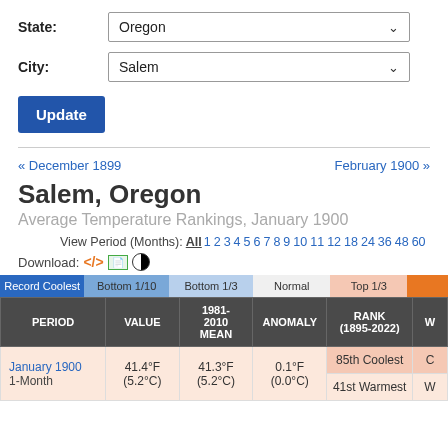State: Oregon
City: Salem
Update
« December 1899
February 1900 »
Salem, Oregon
Average Temperature Rankings, January 1900
View Period (Months): All 1 2 3 4 5 6 7 8 9 10 11 12 18 24 36 48 60
Download:
| PERIOD | VALUE | 1981-2010 MEAN | ANOMALY | RANK (1895-2022) | W |
| --- | --- | --- | --- | --- | --- |
| January 1900
1-Month | 41.4°F
(5.2°C) | 41.3°F
(5.2°C) | 0.1°F
(0.0°C) | 85th Coolest
41st Warmest | C
W |